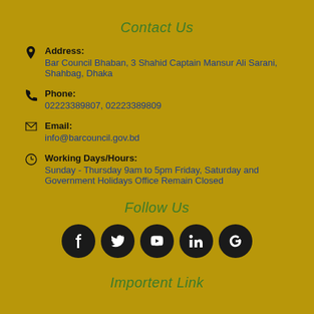Contact Us
Address: Bar Council Bhaban, 3 Shahid Captain Mansur Ali Sarani, Shahbag, Dhaka
Phone: 02223389807, 02223389809
Email: info@barcouncil.gov.bd
Working Days/Hours: Sunday - Thursday 9am to 5pm Friday, Saturday and Government Holidays Office Remain Closed
Follow Us
[Figure (infographic): Five social media icons in dark circles: Facebook, Twitter, YouTube, LinkedIn, Google+]
Importent Link